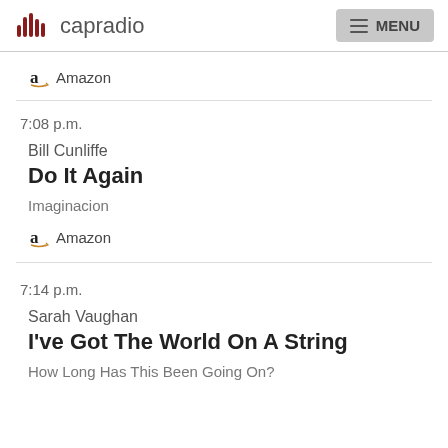capradio MENU
Amazon
7:08 p.m.
Bill Cunliffe
Do It Again
Imaginacion
Amazon
7:14 p.m.
Sarah Vaughan
I've Got The World On A String
How Long Has This Been Going On?